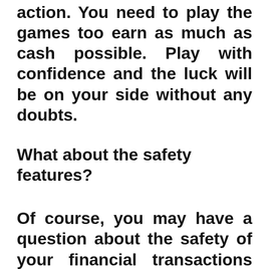action. You need to play the games too earn as much as cash possible. Play with confidence and the luck will be on your side without any doubts.
What about the safety features?
Of course, you may have a question about the safety of your financial transactions while using the online casinos. It is not mandatory to use only the conventional currencies in the caisson sites. They are accepting digital currencies as a payment and this means that...